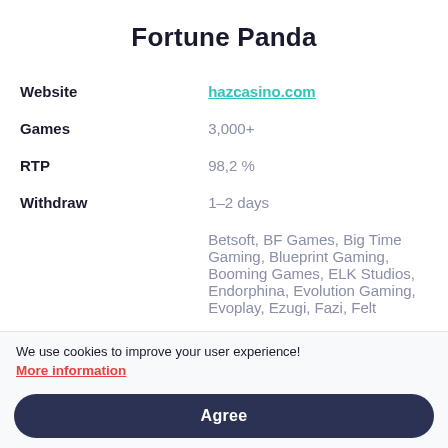Fortune Panda
| Website | hazcasino.com |
| Games | 3,000+ |
| RTP | 98,2 % |
| Withdraw | 1–2 days |
|  | Betsoft, BF Games, Big Time Gaming, Blueprint Gaming, Booming Games, ELK Studios, Endorphina, Evolution Gaming, Evoplay, Ezugi, Fazi, Felt |
We use cookies to improve your user experience!
More information
Agree